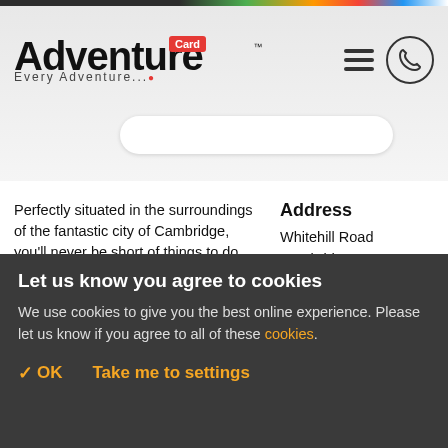[Figure (logo): Adventure Card logo with red Card badge and tagline 'Every Adventure...']
Perfectly situated in the surroundings of the fantastic city of Cambridge, you'll never be short of things to do after you've experienced the hilariously fun action of Bubble Football! We're easily accessible for football lovers and adrenaline-seekers across the country via the M11 and A14. Full travel information will be printed on your booking confirmation receipt.
Address
Whitehill Road
Cambridge
CB5 8NT
Maps and directions used on our website are for guide...
Let us know you agree to cookies
We use cookies to give you the best online experience. Please let us know if you agree to all of these cookies.
✓ OK
Take me to settings